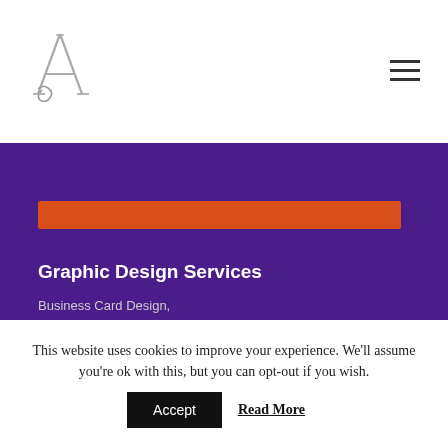Logo and navigation header
[Figure (logo): Stylized letter A logo with decorative swirl, silver/grey color]
[Figure (illustration): Hamburger menu icon (three horizontal lines)]
[Figure (illustration): Orange horizontal bar on purple background]
Graphic Design Services
Business Card Design,
Business Stationery,
This website uses cookies to improve your experience. We'll assume you're ok with this, but you can opt-out if you wish.
Accept   Read More